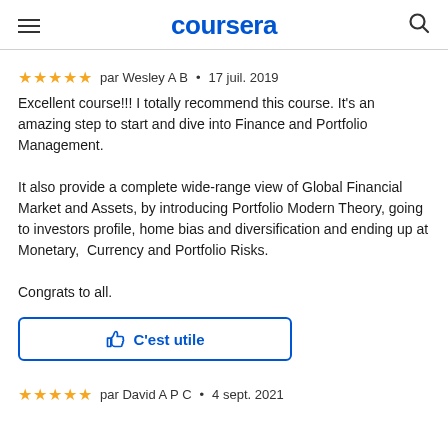coursera
par Wesley A B • 17 juil. 2019
Excellent course!!! I totally recommend this course. It's an amazing step to start and dive into Finance and Portfolio Management.

It also provide a complete wide-range view of Global Financial Market and Assets, by introducing Portfolio Modern Theory, going to investors profile, home bias and diversification and ending up at Monetary,  Currency and Portfolio Risks.

Congrats to all.
C'est utile
par David A P C • 4 sept. 2021